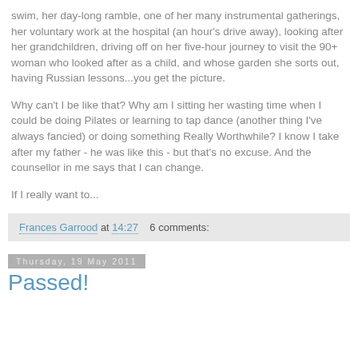swim, her day-long ramble, one of her many instrumental gatherings, her voluntary work at the hospital (an hour's drive away), looking after her grandchildren, driving off on her five-hour journey to visit the 90+ woman who looked after as a child, and whose garden she sorts out, having Russian lessons...you get the picture.
Why can't I be like that? Why am I sitting her wasting time when I could be doing Pilates or learning to tap dance (another thing I've always fancied) or doing something Really Worthwhile? I know I take after my father - he was like this - but that's no excuse. And the counsellor in me says that I can change.
If I really want to...
Frances Garrood at 14:27   6 comments:
Thursday, 19 May 2011
Passed!